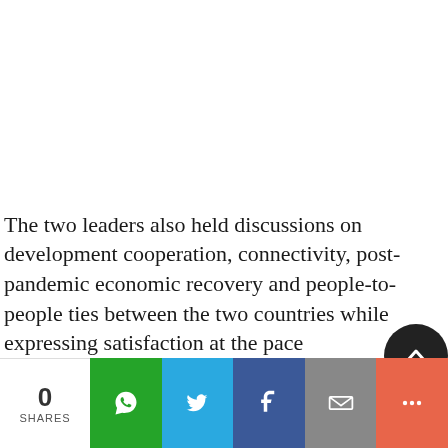The two leaders also held discussions on development cooperation, connectivity, post-pandemic economic recovery and people-to-people ties between the two countries while expressing satisfaction at the pace
[Figure (infographic): Social share bar at bottom: share count showing 0 SHARES, followed by WhatsApp (green), Twitter (blue), Facebook (dark blue), Email (grey), and More (orange-red) share buttons with icons.]